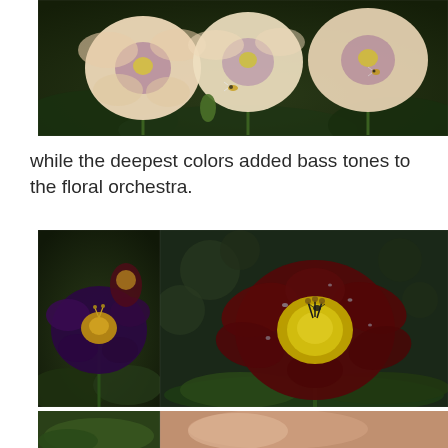[Figure (photo): Close-up photograph of cream/peach daylilies with purple-mauve eye zones and yellow centers, against dark green foliage background. A bee is visible near the center flower.]
while the deepest colors added bass tones to the floral orchestra.
[Figure (photo): Two photos side by side: (left) A very dark purple/near-black daylily with golden-yellow center against green foliage. (right) A deep burgundy/dark red daylily with bright yellow center throat, showing water droplets on petals, against blurred dark background with green foliage.]
[Figure (photo): Partial strip of two photos at bottom of page, cropped — left shows green garden foliage, right shows what appears to be a pink/peach flower or element.]